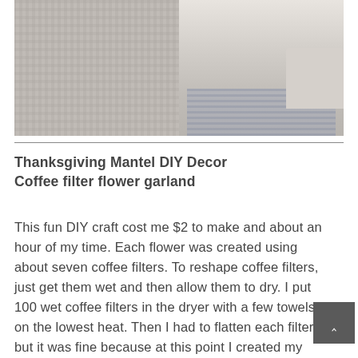[Figure (photo): Two side-by-side photos: left shows a close-up of a knit textile texture in gray/beige tones; right shows a living room interior with a rug and chair in muted tones.]
Thanksgiving Mantel DIY Decor Coffee filter flower garland
This fun DIY craft cost me $2 to make and about an hour of my time. Each flower was created using about seven coffee filters. To reshape coffee filters, just get them wet and then allow them to dry. I put 100 wet coffee filters in the dryer with a few towels on the lowest heat. Then I had to flatten each filter, but it was fine because at this point I created my stacks of seven filters. Then I stapled the stack near the center, glue gunned the middle filters together